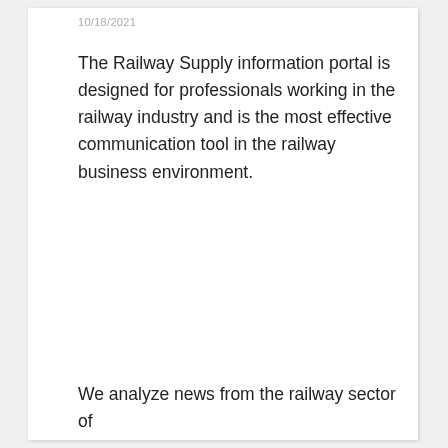10/18/2021
The Railway Supply information portal is designed for professionals working in the railway industry and is the most effective communication tool in the railway business environment.
We analyze news from the railway sector of